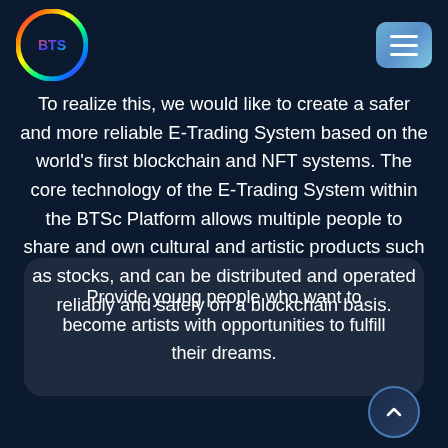[Figure (logo): BTS circular rainbow logo with targeting crosshair ring, colorful gradient]
[Figure (other): Hamburger menu button, light blue/teal rounded rectangle with three white horizontal lines]
To realize this, we would like to create a safer and more reliable E-Trading System based on the world's first blockchain and NFT systems. The core technology of the E-Trading System within the BTSc Platform allows multiple people to share and own cultural and artistic products such as stocks, and can be distributed and operated reliably and safely on a blockchain basis.
Provide young people who want to become artists with opportunities to fulfill their dreams.
[Figure (other): Circular scroll-to-top button with upward chevron arrow, dark blue with gradient border]